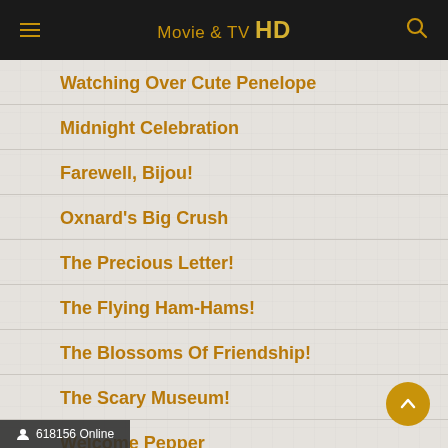Movie & TV HD
Watching Over Cute Penelope
Midnight Celebration
Farewell, Bijou!
Oxnard's Big Crush
The Precious Letter!
The Flying Ham-Hams!
The Blossoms Of Friendship!
The Scary Museum!
Welcome Pepper
618156 Online